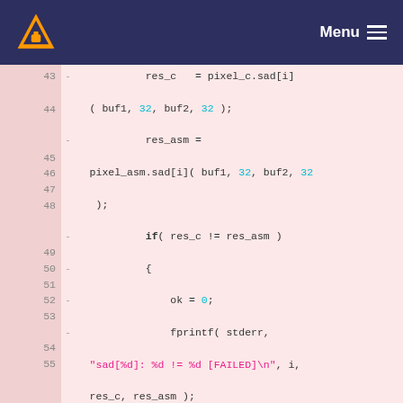VLC Menu
Code diff showing lines 43-55 of a C source file with pixel SAD (Sum of Absolute Differences) testing code